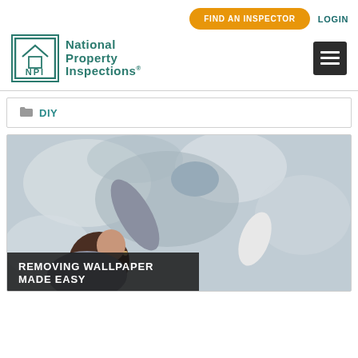[Figure (logo): National Property Inspections logo with teal NPI square icon and text]
FIND AN INSPECTOR
LOGIN
DIY
[Figure (photo): Woman removing wallpaper from a wall using a sponge and scraper tool]
REMOVING WALLPAPER MADE EASY